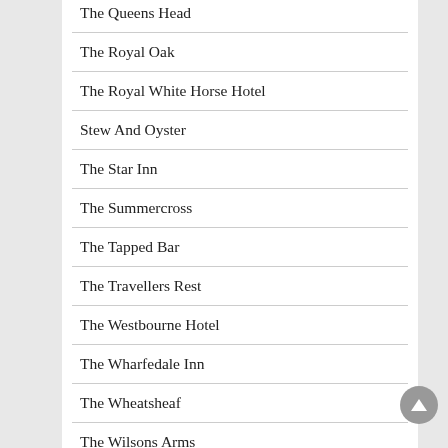The Queens Head
The Royal Oak
The Royal White Horse Hotel
Stew And Oyster
The Star Inn
The Summercross
The Tapped Bar
The Travellers Rest
The Westbourne Hotel
The Wharfedale Inn
The Wheatsheaf
The Wilsons Arms
The W...